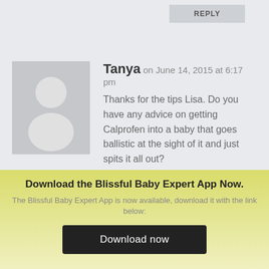REPLY
Tanya on June 14, 2015 at 6:17 pm
Thanks for the tips Lisa. Do you have any advice on getting Calprofen into a baby that goes ballistic at the sight of it and just spits it all out?
REPLY
Download the Blissful Baby Expert App Now.
The Blissful Baby Expert App is now available, download it with the link below:
Download now